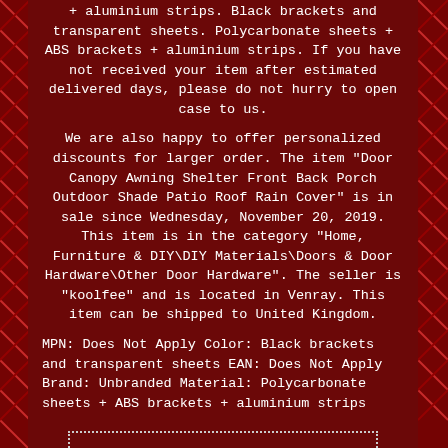+ aluminium strips. Black brackets and transparent sheets. Polycarbonate sheets + ABS brackets + aluminium strips. If you have not received your item after estimated delivered days, please do not hurry to open case to us.
We are also happy to offer personalized discounts for larger order. The item "Door Canopy Awning Shelter Front Back Porch Outdoor Shade Patio Roof Rain Cover" is in sale since Wednesday, November 20, 2019. This item is in the category "Home, Furniture & DIY\DIY Materials\Doors & Door Hardware\Other Door Hardware". The seller is "koolfee" and is located in Venray. This item can be shipped to United Kingdom.
MPN: Does Not Apply Color: Black brackets and transparent sheets EAN: Does Not Apply Brand: Unbranded Material: Polycarbonate sheets + ABS brackets + aluminium strips
[Figure (other): eBay link button with dotted border saying 'More info on eBay...']
[Figure (other): Facebook Like button in blue]